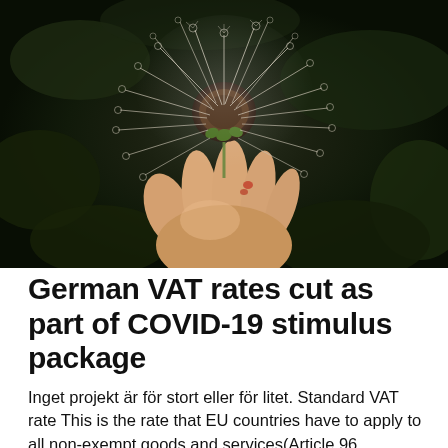[Figure (photo): A hand holding a dandelion seed head (clock) against a dark green background. The photo is taken from below looking up at the fluffy white dandelion against a blurred dark foliage backdrop.]
German VAT rates cut as part of COVID-19 stimulus package
Inget projekt är för stort eller för litet. Standard VAT rate This is the rate that EU countries have to apply to all non-exempt goods and services(Article 96